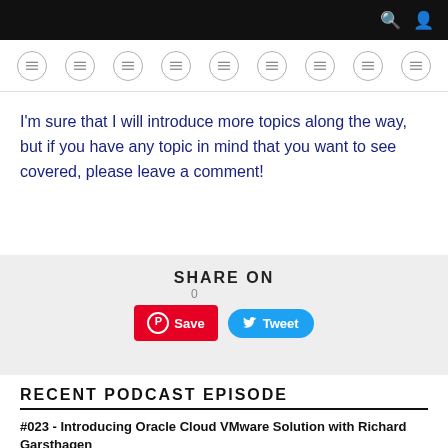[Figure (screenshot): Black top navigation bar with search and user icons on the right]
[Figure (screenshot): Row of 9 circular navigation menu icons with hamburger/menu symbols]
I'm sure that I will introduce more topics along the way, but if you have any topic in mind that you want to see covered, please leave a comment!
SHARE ON
[Figure (screenshot): Share buttons: Pinterest Save button (red) and Tweet button (blue)]
RECENT PODCAST EPISODE
#023 - Introducing Oracle Cloud VMware Solution with Richard Garsthagen